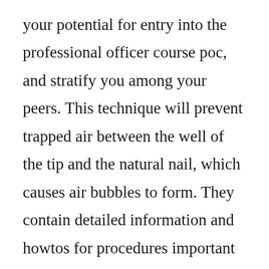your potential for entry into the professional officer course poc, and stratify you among your peers. This technique will prevent trapped air between the well of the tip and the natural nail, which causes air bubbles to form. They contain detailed information and howtos for procedures important to soldiers serving in the field. By using rhino 4, you can control page layout, lineweight, linetypes, hatches in the pdf file. Jun 29, 2011 basic tools for viewing a 3d pdf file. Course prep manual front sight firearms training institute. The facilitate...